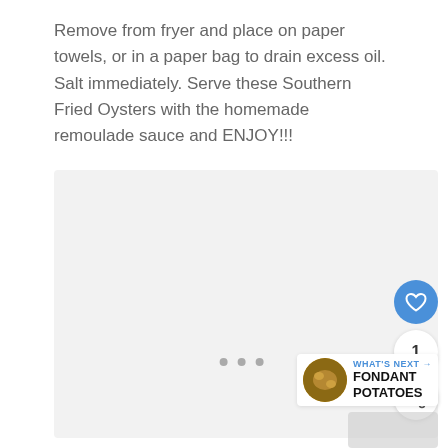Remove from fryer and place on paper towels, or in a paper bag to drain excess oil. Salt immediately. Serve these Southern Fried Oysters with the homemade remoulade sauce and ENJOY!!!
[Figure (photo): Placeholder image area with light gray background showing a carousel indicator with three dots at the bottom center]